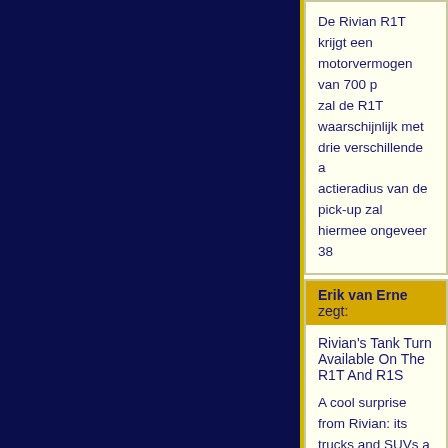De Rivian R1T krijgt een motorvermogen van 700 … zal de R1T waarschijnlijk met drie verschillende a… actieradius van de pick-up zal hiermee ongeveer 38…
Erik van Erne zegt:
Rivian's Tank Turn Available On The R1T And R1S …
A cool surprise from Rivian: its trucks and SUVs a… but few people seemed to understand that it's actua…
[Figure (screenshot): Video thumbnail showing aerial/satellite view of terrain with Rivian logo (diamond shape in white circle) and text 'Tank Turn | Electric Advent...' overlaid at top]